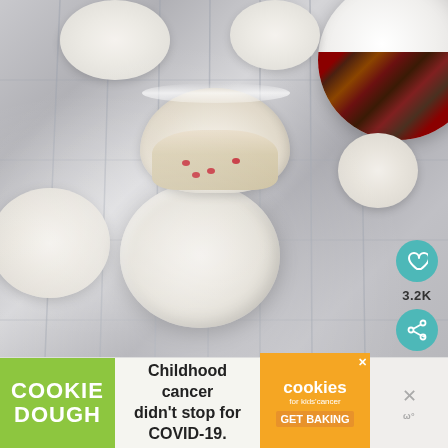[Figure (photo): Powdered sugar snowball cookies (Russian tea cakes) on a wire rack, with cranberry filling visible in a broken cookie. A white bowl with nuts and cranberries is in the upper right corner. Heart and share social media buttons on the right side showing 3.2K saves.]
[Figure (infographic): Advertisement banner: Green section with COOKIE DOUGH text, center text reading 'Childhood cancer didn't stop for COVID-19.', orange Cookies for Kids' Cancer logo with GET BAKING text, and Mediavine close button.]